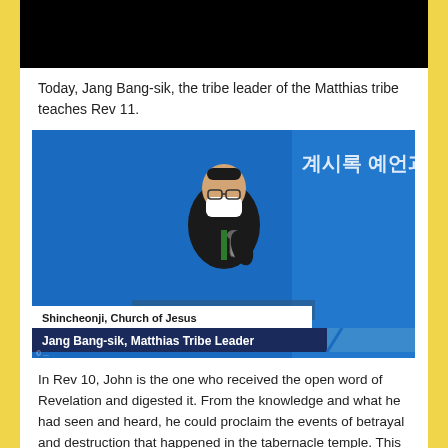[Figure (screenshot): Black bar at top of page, partial screenshot of a video or webpage header]
Today, Jang Bang-sik, the tribe leader of the Matthias tribe teaches Rev 11.
[Figure (photo): Photo of Jang Bang-sik, Matthias Tribe Leader from Shincheonji, Church of Jesus, standing at a podium with a microphone in front of a blue backdrop with Korean text. He is wearing a black suit and white mask. Lower thirds show: 'Shincheonji, Church of Jesus' and 'Jang Bang-sik, Matthias Tribe Leader']
In Rev 10, John is the one who received the open word of Revelation and digested it. From the knowledge and what he had seen and heard, he could proclaim the events of betrayal and destruction that happened in the tabernacle temple. This is the role of 'seventh trumpet', the God's worker who proclaims the events of betrayal and destruction, and then